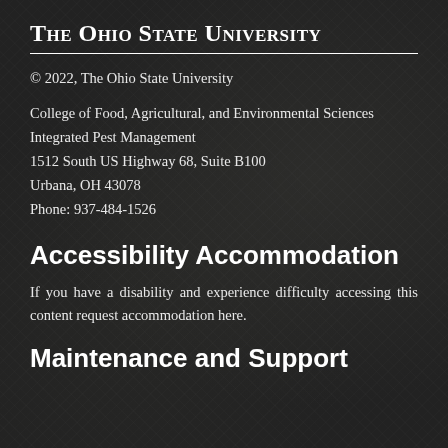The Ohio State University
© 2022, The Ohio State University
College of Food, Agricultural, and Environmental Sciences
Integrated Pest Management
1512 South US Highway 68, Suite B100
Urbana, OH 43078
Phone: 937-484-1526
Accessibility Accommodation
If you have a disability and experience difficulty accessing this content request accommodation here.
Maintenance and Support